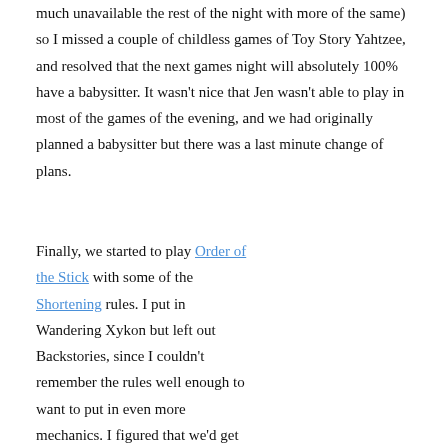much unavailable the rest of the night with more of the same) so I missed a couple of childless games of Toy Story Yahtzee, and resolved that the next games night will absolutely 100% have a babysitter. It wasn't nice that Jen wasn't able to play in most of the games of the evening, and we had originally planned a babysitter but there was a last minute change of plans.
Finally, we started to play Order of the Stick with some of the Shortening rules. I put in Wandering Xykon but left out Backstories, since I couldn't remember the rules well enough to want to put in even more mechanics. I figured that we'd get Xykon out early and see how that worked. Unfortunately, we all had big and nasty monsters so the first level
[Figure (photo): A game card titled 'Ultraviolet Dragon' from Order of the Stick: The Shortening. Shows a cartoon dragon illustration with a small panicking figure and a speech bubble saying 'Help! I don't for!'. Stats shown: 19 (attack), 13 (defense), 7 (range). Dragon type. Breath Weapon and Flying abilities listed. Support ability with Miser: When defeated, Monster drops +1 Loot.]